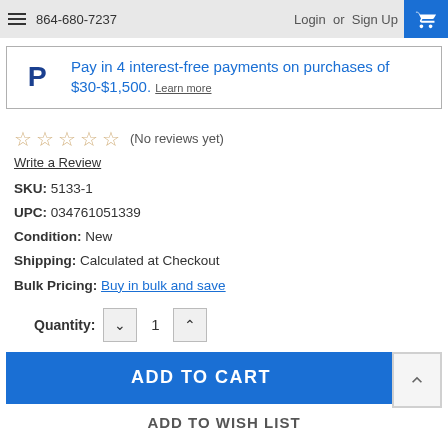864-680-7237   Login or Sign Up
[Figure (infographic): PayPal banner: Pay in 4 interest-free payments on purchases of $30-$1,500. Learn more]
☆☆☆☆☆ (No reviews yet)
Write a Review
SKU: 5133-1
UPC: 034761051339
Condition: New
Shipping: Calculated at Checkout
Bulk Pricing: Buy in bulk and save
Quantity: 1
ADD TO CART
ADD TO WISH LIST